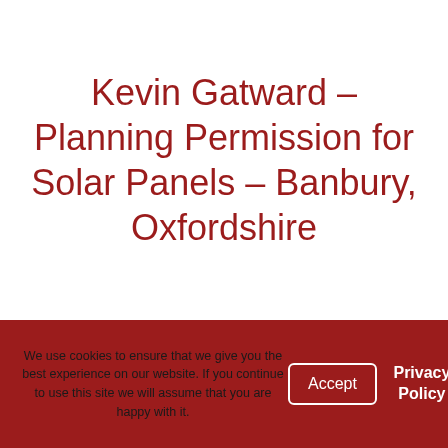Kevin Gatward – Planning Permission for Solar Panels – Banbury, Oxfordshire
We use cookies to ensure that we give you the best experience on our website. If you continue to use this site we will assume that you are happy with it.